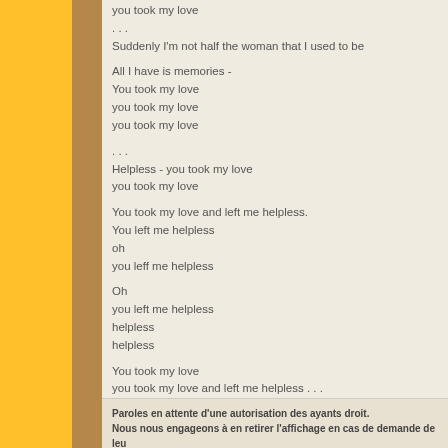you took my love
. . .
Suddenly I'm not half the woman that I used to be

All I have is memories -
You took my love
you took my love
you took my love

. . .
Helpless - you took my love
you took my love

You took my love and left me helpless.
You left me helpless
oh
you left me helpless

Oh
you left me helpless
helpless
helpless

You took my love
you took my love and left me helpless . . .
Paroles en attente d'une autorisation des ayants droit.
Nous nous engageons à en retirer l'affichage en cas de demande de leur part.
Commentaires
10 commentaires
morphee
Il s'agit de la version maxi 45 tours.